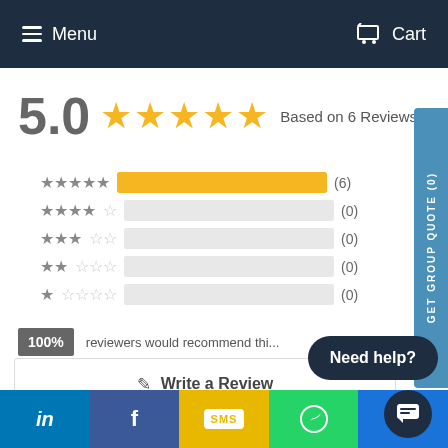Menu  Cart
[Figure (infographic): GET GROUP QUOTE (0) vertical side tab]
5.0  ★★★★★  Based on 6 Reviews
[Figure (bar-chart): Rating distribution]
100% reviewers would recommend thi...
✎  Write a Review
Need help?
in  f  SMS  WhatsApp  (blue)